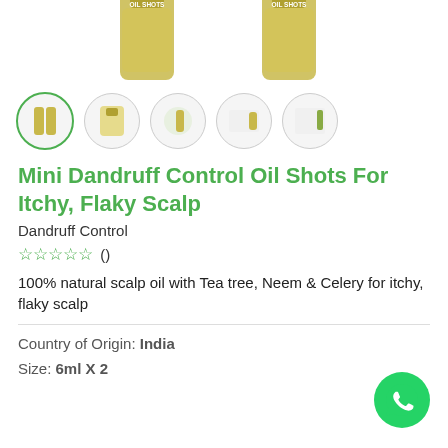[Figure (photo): Two gold OIL SHOTS product bottles shown from above, cropped at top of page]
[Figure (photo): Row of 5 circular thumbnail images of the OIL SHOTS product; first thumbnail is selected with green border]
Mini Dandruff Control Oil Shots For Itchy, Flaky Scalp
Dandruff Control
☆☆☆☆☆ ()
100% natural scalp oil with Tea tree, Neem & Celery for itchy, flaky scalp
Country of Origin: India
Size: 6ml X 2
[Figure (logo): WhatsApp green circle logo button in bottom right corner]